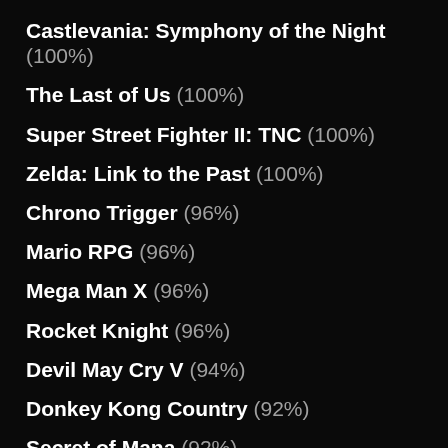Castlevania: Symphony of the Night (100%)
The Last of Us (100%)
Super Street Fighter II: TNC (100%)
Zelda: Link to the Past (100%)
Chrono Trigger (96%)
Mario RPG (96%)
Mega Man X (96%)
Rocket Knight (96%)
Devil May Cry V (94%)
Donkey Kong Country (92%)
Secret of Mana (92%)
Castlevania III (90%)
Injustice 2 (90%)